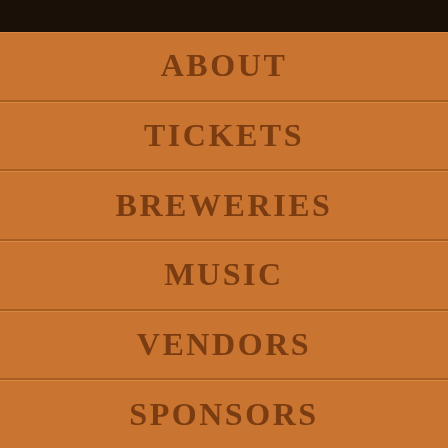ABOUT
TICKETS
BREWERIES
MUSIC
VENDORS
SPONSORS